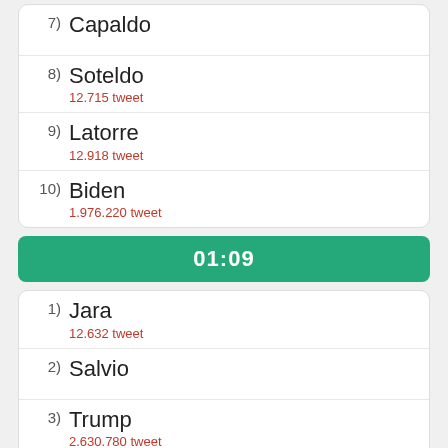7) Capaldo
8) Soteldo
12.715 tweet
9) Latorre
12.918 tweet
10) Biden
1.976.220 tweet
01:09
1) Jara
12.632 tweet
2) Salvio
3) Trump
2.630.780 tweet
4) EEUU
371.718 tweet